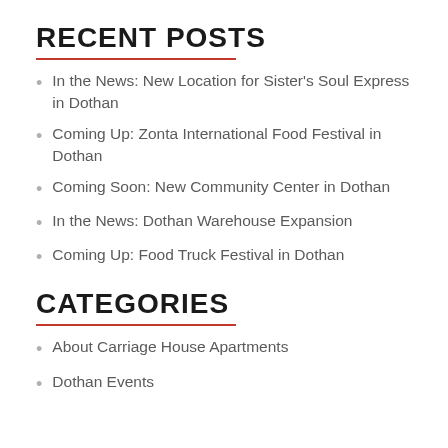RECENT POSTS
In the News: New Location for Sister's Soul Express in Dothan
Coming Up: Zonta International Food Festival in Dothan
Coming Soon: New Community Center in Dothan
In the News: Dothan Warehouse Expansion
Coming Up: Food Truck Festival in Dothan
CATEGORIES
About Carriage House Apartments
Dothan Events